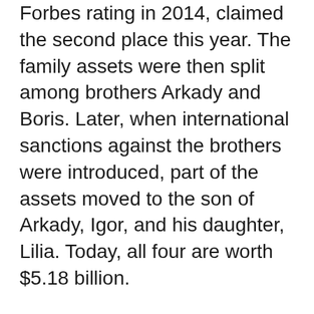Forbes rating in 2014, claimed the second place this year. The family assets were then split among brothers Arkady and Boris. Later, when international sanctions against the brothers were introduced, part of the assets moved to the son of Arkady, Igor, and his daughter, Lilia. Today, all four are worth $5.18 billion.